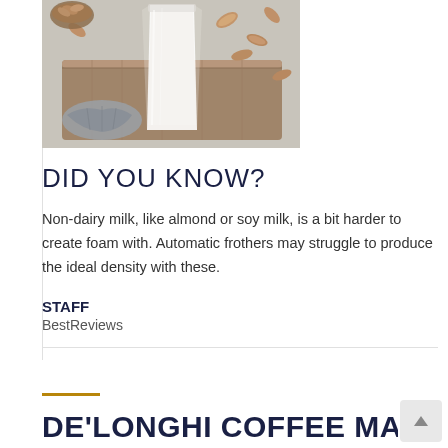[Figure (photo): A glass of white almond milk on a wooden tray surrounded by almonds, with a gray cloth napkin, photographed from above on a gray surface.]
DID YOU KNOW?
Non-dairy milk, like almond or soy milk, is a bit harder to create foam with. Automatic frothers may struggle to produce the ideal density with these.
STAFF
BestReviews
DE'LONGHI COFFEE MAKER